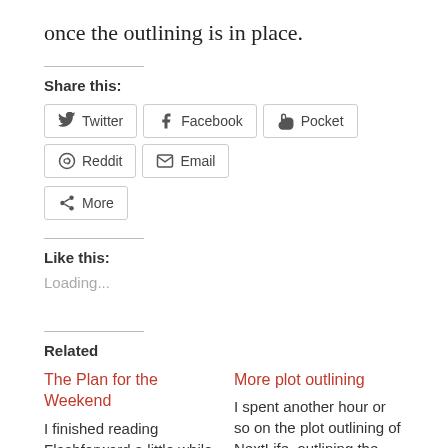once the outlining is in place.
Share this:
Twitter  Facebook  Pocket  Reddit  Email
More
Like this:
Loading...
Related
The Plan for the Weekend
I finished reading Flashforward a little while ago (giving it a 3.0
More plot outlining
I spent another hour or so on the plot outlining of NextLife, outlining the various threads from the